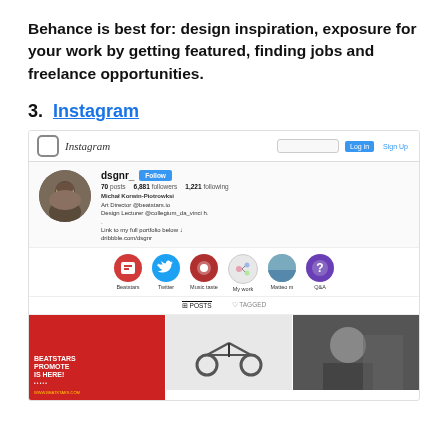Behance is best for: design inspiration, exposure for your work by getting featured, finding jobs and freelance opportunities.
3. Instagram
[Figure (screenshot): Screenshot of an Instagram profile page showing the dsgnr_ account with profile photo, stats (70 posts, 6,881 followers, 1,221 following), bio for Michal Korwin-Piotrowksi, highlights row with Beatstars/Twitter/Music taste/My work/Matteo m/Q&A circles, and a grid of three posts including a red Beatstars Promote Is Here advertisement, a bicycle photo, and a portrait photo.]